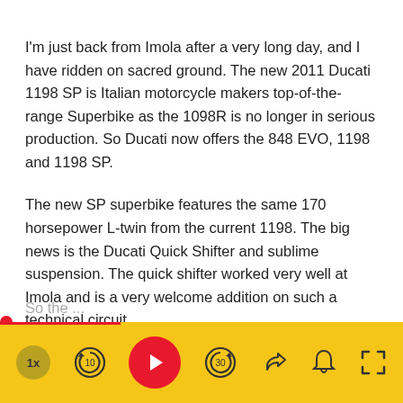I'm just back from Imola after a very long day, and I have ridden on sacred ground. The new 2011 Ducati 1198 SP is Italian motorcycle makers top-of-the-range Superbike as the 1098R is no longer in serious production. So Ducati now offers the 848 EVO, 1198 and 1198 SP.
The new SP superbike features the same 170 horsepower L-twin from the current 1198. The big news is the Ducati Quick Shifter and sublime suspension. The quick shifter worked very well at Imola and is a very welcome addition on such a technical circuit.